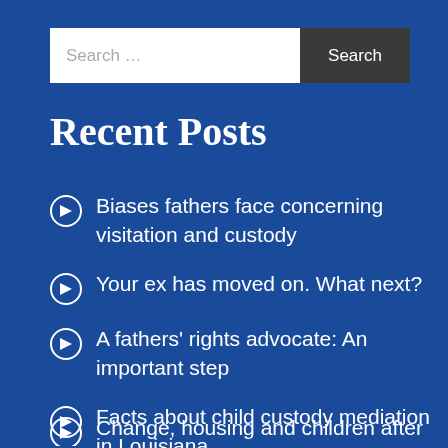Recent Posts
Biases fathers face concerning visitation and custody
Your ex has moved on. What next?
A fathers' rights advocate: An important step
Facts about child custody mediation in Louisiana
Change, housing and children after a